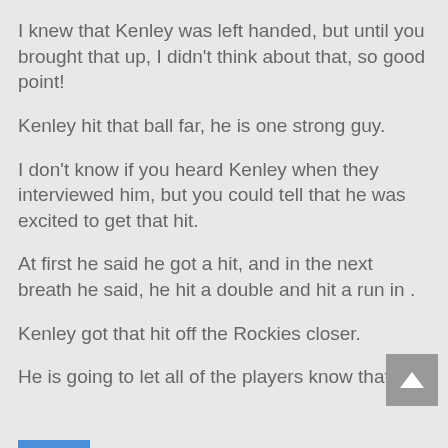I knew that Kenley was left handed, but until you brought that up, I didn’t think about that, so good point!
Kenley hit that ball far, he is one strong guy.
I don’t know if you heard Kenley when they interviewed him, but you could tell that he was excited to get that hit.
At first he said he got a hit, and in the next breath he said, he hit a double and hit a run in .
Kenley got that hit off the Rockies closer.
He is going to let all of the players know that!